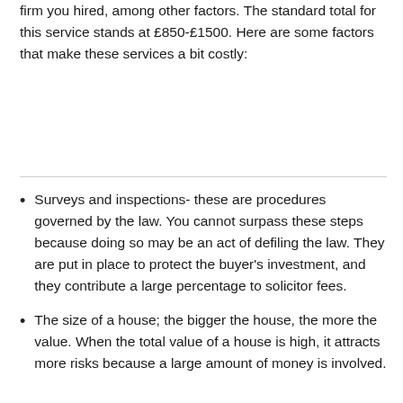firm you hired, among other factors. The standard total for this service stands at £850-£1500. Here are some factors that make these services a bit costly:
Surveys and inspections- these are procedures governed by the law. You cannot surpass these steps because doing so may be an act of defiling the law. They are put in place to protect the buyer's investment, and they contribute a large percentage to solicitor fees.
The size of a house; the bigger the house, the more the value. When the total value of a house is high, it attracts more risks because a large amount of money is involved.